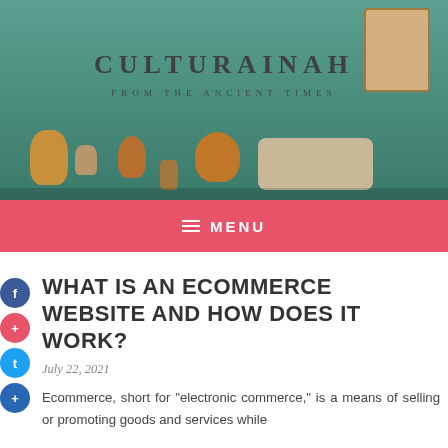[Figure (photo): Museum display with ancient artifacts including pottery, vases, busts, and stone carvings against a teal green background, with a portrait painting on the right]
CULTURAINAH
FROM THE ANCIENT TIMES
≡  MENU
WHAT IS AN ECOMMERCE WEBSITE AND HOW DOES IT WORK?
July 22, 2021
Ecommerce, short for "electronic commerce," is a means of selling or promoting goods and services while